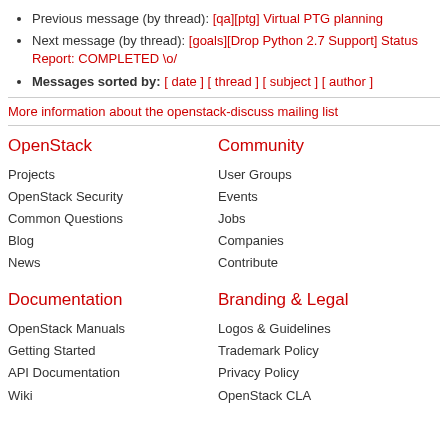Previous message (by thread): [qa][ptg] Virtual PTG planning
Next message (by thread): [goals][Drop Python 2.7 Support] Status Report: COMPLETED \o/
Messages sorted by: [ date ] [ thread ] [ subject ] [ author ]
More information about the openstack-discuss mailing list
OpenStack
Community
Projects
User Groups
OpenStack Security
Events
Common Questions
Jobs
Blog
Companies
News
Contribute
Documentation
Branding & Legal
OpenStack Manuals
Logos & Guidelines
Getting Started
Trademark Policy
API Documentation
Privacy Policy
Wiki
OpenStack CLA